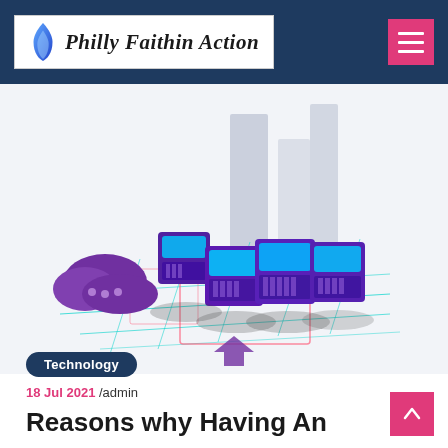Philly Faithin Action
[Figure (illustration): Isometric illustration of cloud computing / data center with purple server blocks connected by teal circuit lines on a grid, with tall gray bar columns in the background]
Technology
18 Jul 2021 /admin
Reasons why Having An